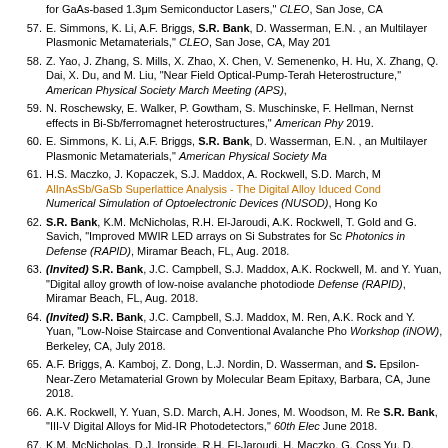for GaAs-based 1.3μm Semiconductor Lasers," CLEO, San Jose, CA
57. E. Simmons, K. Li, A.F. Briggs, S.R. Bank, D. Wasserman, E.N. , and Multilayer Plasmonic Metamaterials," CLEO, San Jose, CA, May 201
58. Z. Yao, J. Zhang, S. Mills, X. Zhao, X. Chen, V. Semenenko, H. Hu, X. Zhang, Q. Dai, X. Du, and M. Liu, "Near Field Optical-Pump-Terah Heterostructure," American Physical Society March Meeting (APS),
59. N. Roschewsky, E. Walker, P. Gowtham, S. Muschinske, F. Hellman, Nernst effects in Bi-Sb/ferromagnet heterostructures," American Phy 2019.
60. E. Simmons, K. Li, A.F. Briggs, S.R. Bank, D. Wasserman, E.N. , and Multilayer Plasmonic Metamaterials," American Physical Society Ma
61. H.S. Maczko, J. Kopaczek, S.J. Maddox, A. Rockwell, S.D. March, M AlInAsSb/GaSb Superlattice Analysis - The Digital Alloy Iduced Cond Numerical Simulation of Optoelectronic Devices (NUSOD), Hong Ko
62. S.R. Bank, K.M. McNicholas, R.H. El-Jaroudi, A.K. Rockwell, T. Gold and G. Savich, "Improved MWIR LED arrays on Si Substrates for Sc Photonics in Defense (RAPID), Miramar Beach, FL, Aug. 2018.
63. (Invited) S.R. Bank, J.C. Campbell, S.J. Maddox, A.K. Rockwell, M. and Y. Yuan, "Digital alloy growth of low-noise avalanche photodiode Defense (RAPID), Miramar Beach, FL, Aug. 2018.
64. (Invited) S.R. Bank, J.C. Campbell, S.J. Maddox, M. Ren, A.K. Rock and Y. Yuan, "Low-Noise Staircase and Conventional Avalanche Pho Workshop (iNOW), Berkeley, CA, July 2018.
65. A.F. Briggs, A. Kamboj, Z. Dong, L.J. Nordin, D. Wasserman, and S. Epsilon-Near-Zero Metamaterial Grown by Molecular Beam Epitaxy, Barbara, CA, June 2018.
66. A.K. Rockwell, Y. Yuan, S.D. March, A.H. Jones, M. Woodson, M. Re S.R. Bank, "III-V Digital Alloys for Mid-IR Photodetectors," 60th Elec June 2018.
67. K.M. McNicholas, D.J. Ironside, R.H. El-Jaroudi, H. Maczko, G. Coss Yu, D. Wasserman, and S.R. Bank, "BGaAs/GaP heteroepitaxy for s Materials Conf. (FMC), Santa Barbara, CA, June 2018.